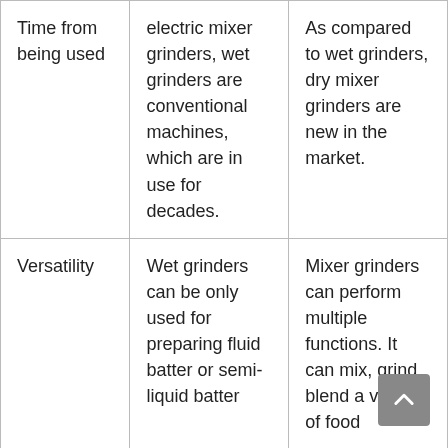| Time from being used | electric mixer grinders, wet grinders are conventional machines, which are in use for decades. | As compared to wet grinders, dry mixer grinders are new in the market. |
| Versatility | Wet grinders can be only used for preparing fluid batter or semi-liquid batter | Mixer grinders can perform multiple functions. It can mix, grind, blend a variety of food |